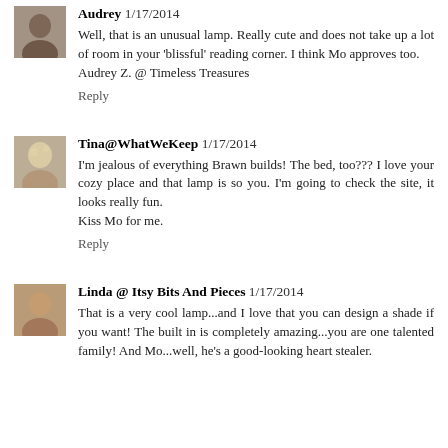[Figure (photo): Small avatar photo of Audrey, an older woman]
Audrey 1/17/2014
Well, that is an unusual lamp. Really cute and does not take up a lot of room in your 'blissful' reading corner. I think Mo approves too.
Audrey Z. @ Timeless Treasures
Reply
[Figure (photo): Small avatar photo of Tina, woman with light hair]
Tina@WhatWeKeep 1/17/2014
I'm jealous of everything Brawn builds! The bed, too??? I love your cozy place and that lamp is so you. I'm going to check the site, it looks really fun.
Kiss Mo for me.
Reply
[Figure (photo): Small avatar photo of Linda, woman with glasses]
Linda @ Itsy Bits And Pieces 1/17/2014
That is a very cool lamp...and I love that you can design a shade if you want! The built in is completely amazing...you are one talented family! And Mo...well, he's a good-looking heart stealer.